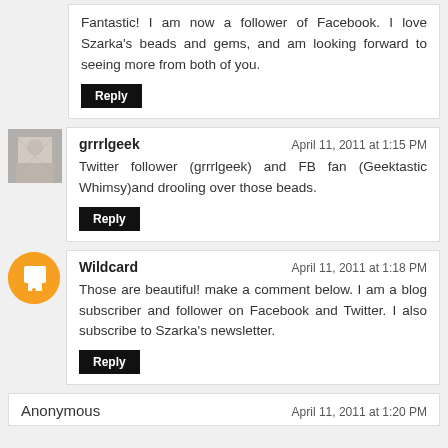Fantastic! I am now a follower of Facebook. I love Szarka's beads and gems, and am looking forward to seeing more from both of you.
Reply
grrrlgeek
April 11, 2011 at 1:15 PM
Twitter follower (grrrlgeek) and FB fan (Geektastic Whimsy)and drooling over those beads.
Reply
Wildcard
April 11, 2011 at 1:18 PM
Those are beautiful! make a comment below. I am a blog subscriber and follower on Facebook and Twitter. I also subscribe to Szarka's newsletter.
Reply
Anonymous
April 11, 2011 at 1:20 PM